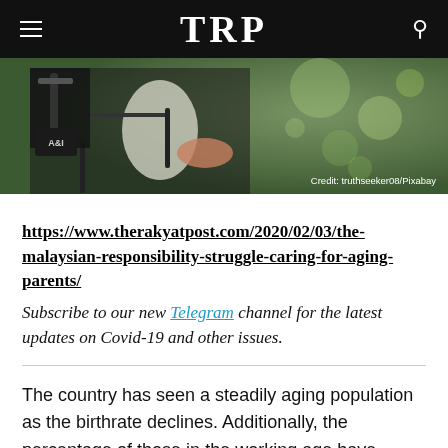TRP
[Figure (photo): Close-up photo of an elderly person in a wheelchair being assisted, with bokeh green background. Credit: truthseeker08/Pixabay]
https://www.therakyatpost.com/2020/02/03/the-malaysian-responsibility-struggle-caring-for-aging-parents/
Subscribe to our new Telegram channel for the latest updates on Covid-19 and other issues.
The country has seen a steadily aging population as the birthrate declines. Additionally, the percentage of those in the working age have shrunk as well,